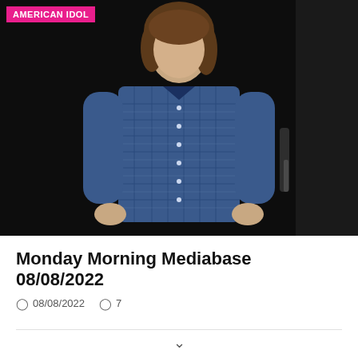[Figure (photo): A young man with shoulder-length brown hair wearing a blue plaid flannel shirt, standing against a dark/black background. Pink 'AMERICAN IDOL' tag overlaid in top-left corner.]
Monday Morning Mediabase 08/08/2022
08/08/2022  7